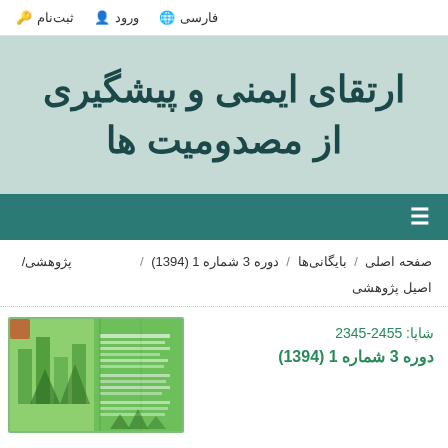فارسی / ورود / ثبت‌نام
ارتقای ایمنی و پیشگیری از مصدومیت ها
☰
صفحه اصلی / بایگانی‌ها / دوره 3 شماره 1 (1394) / پژوهشی/ اصیل پژوهشی
[Figure (photo): Journal cover image showing green-themed publication with triangular/bar chart design elements]
شاپا: 2455-2345
دوره 3 شماره 1 (1394)